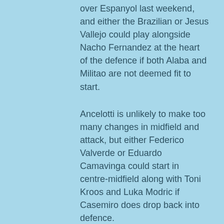over Espanyol last weekend, and either the Brazilian or Jesus Vallejo could play alongside Nacho Fernandez at the heart of the defence if both Alaba and Militao are not deemed fit to start.
Ancelotti is unlikely to make too many changes in midfield and attack, but either Federico Valverde or Eduardo Camavinga could start in centre-midfield along with Toni Kroos and Luka Modric if Casemiro does drop back into defence.
After coming off the bench to net two crucial goals in midweek, in-form winger Rodrygo – who has scored six goals in his last six appearances – will be hoping to force his way into the first XI alongside Benzema and Vinicius Junior.
Atletico Madrid possible starting lineup: Oblak; Sovic, Gimenez, Felipe; Herarte, De...